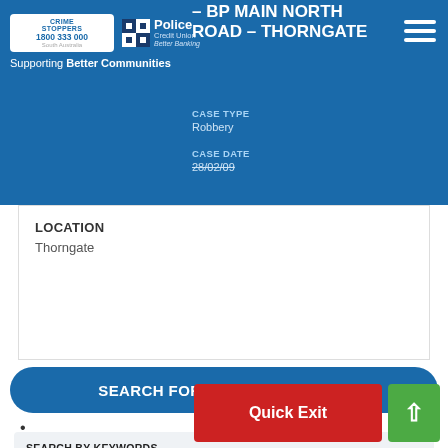Crime Stoppers 1800 333 000 South Australia | Police Credit Union | Supporting Better Communities
– BP MAIN NORTH ROAD – THORNGATE
CASE TYPE
Robbery
CASE DATE
28/02/09
LOCATION
Thorngate
SEARCH FOR UNSOLVED CASES
SEARCH BY KEYWORDS
SEARCH BY REFERENCE NUMBER
Quick Exit